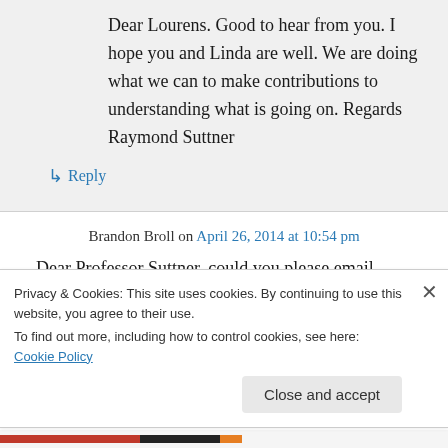Dear Lourens. Good to hear from you. I hope you and Linda are well. We are doing what we can to make contributions to understanding what is going on. Regards Raymond Suttner
↳ Reply
Brandon Broll on April 26, 2014 at 10:54 pm
Dear Professor Suttner, could you please email
Privacy & Cookies: This site uses cookies. By continuing to use this website, you agree to their use.
To find out more, including how to control cookies, see here: Cookie Policy
Close and accept